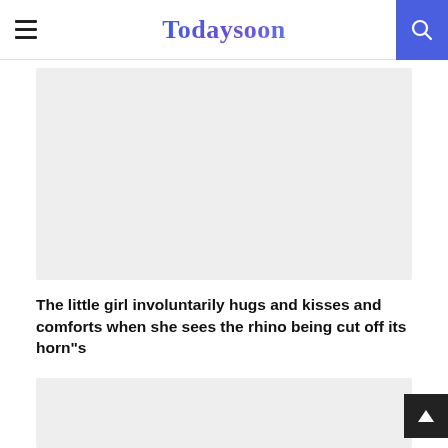Todaysoon
[Figure (other): Gray placeholder image area (top)]
The little girl involuntarily hugs and kisses and comforts when she sees the rhino being cut off its horn"s
[Figure (other): Gray placeholder image area (bottom)]